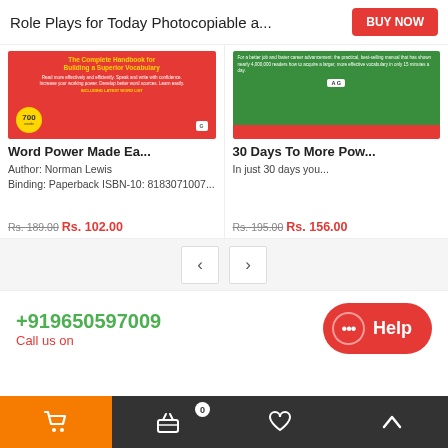Role Plays for Today Photocopiable a...
[Figure (photo): Book cover: The Complete Handbook for Building a Superior Vocabulary (red cover with yellow title)]
Word Power Made Ea...
Author: Norman Lewis Binding: Paperback ISBN-10: 8183071007...
Rs. 189.00 Rs. 102.00
[Figure (photo): Book cover: 30 Days To More Powerful Vocabulary (green and red cover)]
30 Days To More Pow...
In just 30 days you...
Rs. 195.00 Rs. 156.00
+919650597009
Call us on
Shopping cart  Basket 0  Wishlist  Top